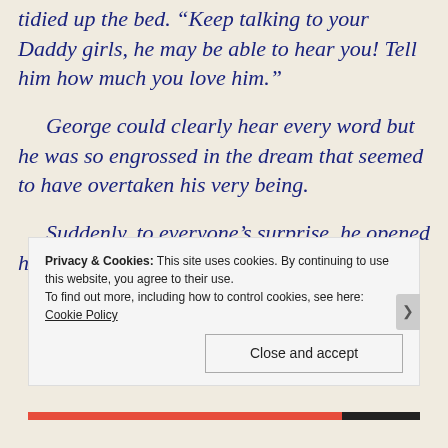tidied up the bed. “Keep talking to your Daddy girls, he may be able to hear you! Tell him how much you love him.”
George could clearly hear every word but he was so engrossed in the dream that seemed to have overtaken his very being.
Suddenly, to everyone’s surprise, he opened his eyes and clearly said;
Privacy & Cookies: This site uses cookies. By continuing to use this website, you agree to their use.
To find out more, including how to control cookies, see here: Cookie Policy